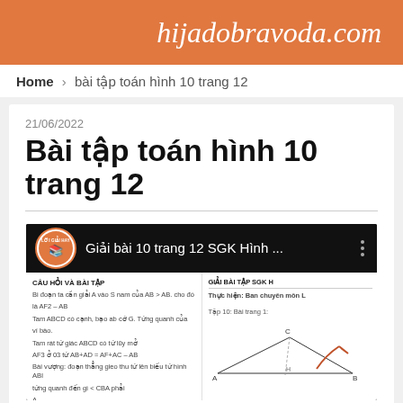hijadobravoda.com
Home › bài tập toán hình 10 trang 12
21/06/2022
Bài tập toán hình 10 trang 12
[Figure (screenshot): YouTube video thumbnail showing 'Giải bài 10 trang 12 SGK Hình ...' with channel logo 'LỜI GIẢI HAY' and video content showing geometry problem solutions]